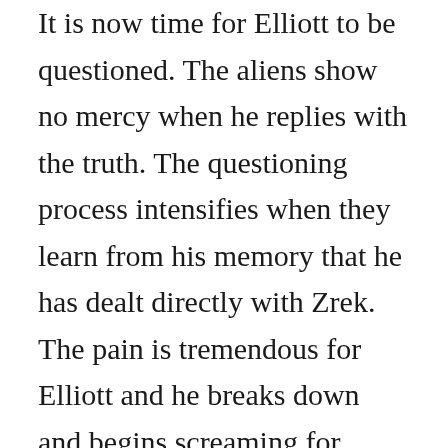It is now time for Elliott to be questioned. The aliens show no mercy when he replies with the truth. The questioning process intensifies when they learn from his memory that he has dealt directly with Zrek. The pain is tremendous for Elliott and he breaks down and begins screaming for E.T.'s help. Elliott black out but the echos of his last cry can be heard from a distance. At this point we follow, upward, the echoing cry for E.T. into the cosmos where the painful